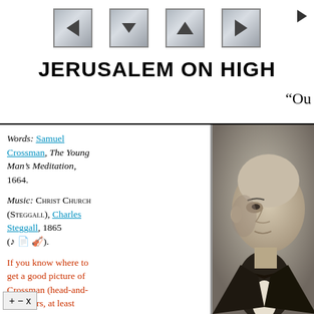[Figure (screenshot): Navigation bar with four stone-textured arrow buttons (left, up-inverted, up, right) and a small downward triangle in top-right corner]
JERUSALEM ON HIGH
“Ou
Words: Samuel Crossman, The Young Man’s Meditation, 1664.
Music: Christ Church (Steggall), Charles Steggall, 1865.
If you know where to get a good picture of Crossman (head-and-shoulders, at least 200×300 pixels), would you send us an e-mail?
[Figure (photo): Sepia-toned portrait photograph of a bald elderly man in formal attire, facing slightly right]
+ − x